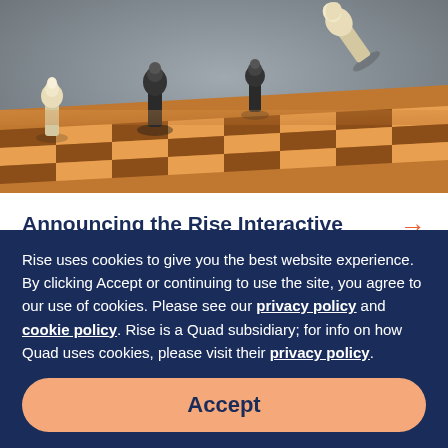[Figure (photo): Chess pieces on a wooden chessboard, showing black and white pawns and other pieces, with a white piece appearing to be knocked over. The scene is photographed from a low angle with selective focus creating a dramatic effect.]
Announcing the Rise Interactive Amazon Marketing Practice
Rise uses cookies to give you the best website experience. By clicking Accept or continuing to use the site, you agree to our use of cookies. Please see our privacy policy and cookie policy. Rise is a Quad subsidiary; for info on how Quad uses cookies, please visit their privacy policy.
Accept